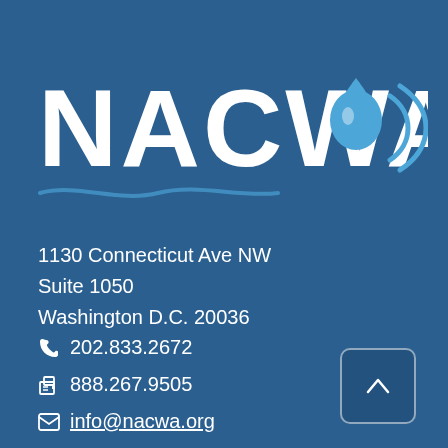[Figure (logo): NACWA logo with water drop and sound waves icon in white and blue on dark blue background]
1130 Connecticut Ave NW
Suite 1050
Washington D.C. 20036
📞 202.833.2672
🖷 888.267.9505
✉ info@nacwa.org